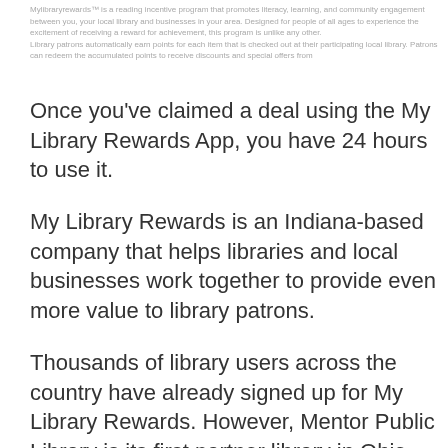Mylibraryrewards™ is a reading incentive program that promotes literacy, learning, and community engagement between you, your local library and businesses in your area. Designed for people of all ages to experience the excitement of receiving a reward for achievement, this program is unlike any other. Library patrons automatically earn points for each item that is checked out at their participating local library. Patrons can redeem the accumulated points to receive discounts and special offers from
Once you've claimed a deal using the My Library Rewards App, you have 24 hours to use it.
My Library Rewards is an Indiana-based company that helps libraries and local businesses work together to provide even more value to library patrons.
Thousands of library users across the country have already signed up for My Library Rewards. However, Mentor Public Library is its first partner library in Ohio.
If you have any questions about My Library Rewards, visit their FAQ page.